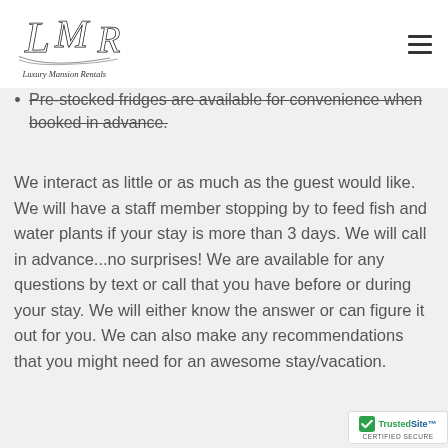Luxury Mansion Rentals
Pre-stocked fridges are available for convenience when booked in advance.
We interact as little or as much as the guest would like. We will have a staff member stopping by to feed fish and water plants if your stay is more than 3 days. We will call in advance...no surprises! We are available for any questions by text or call that you have before or during your stay. We will either know the answer or can figure it out for you. We can also make any recommendations that you might need for an awesome stay/vacation.
[Figure (logo): TrustedSite Certified Secure badge]